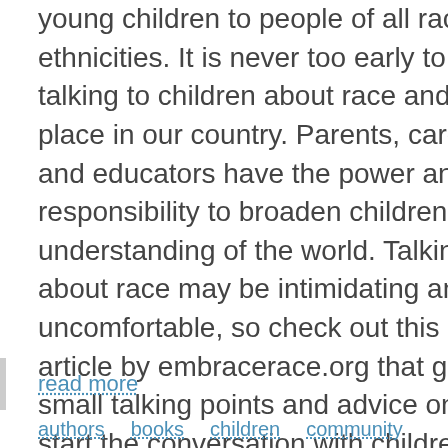young children to people of all races and ethnicities. It is never too early to start talking to children about race and its place in our country. Parents, caregivers, and educators have the power and responsibility to broaden children's understanding of the world. Talking about race may be intimidating and uncomfortable, so check out this great article by embracerace.org that gives small talking points and advice on how to start the conversation with children. Representation in children's books is very unequal. Studies show that children need to see people that look like them in books and other media to form a positive self...
read more
authors  books  children  community  early literacy  reading